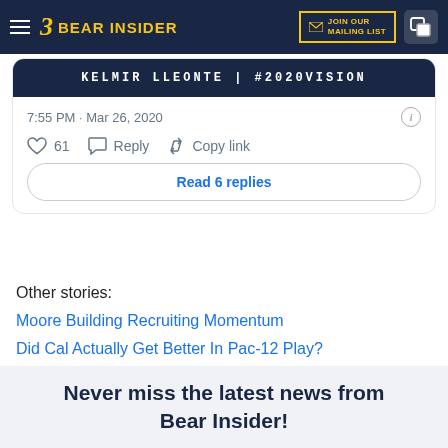Bear Insider — JOIN OUR MAILING LIST
[Figure (screenshot): Tweet card showing timestamp 7:55 PM · Mar 26, 2020 with 61 likes, Reply, Copy link actions and Read 6 replies button]
Other stories:
Moore Building Recruiting Momentum
Did Cal Actually Get Better In Pac-12 Play?
Tweet  Share
Never miss the latest news from Bear Insider!